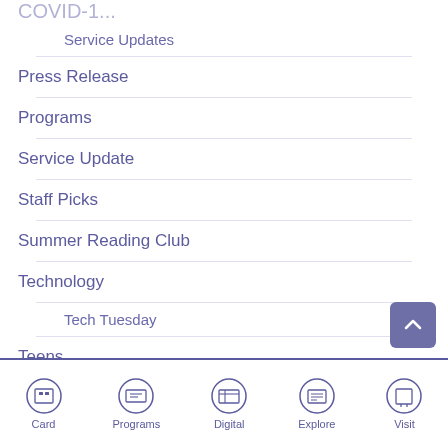Service Updates
Press Release
Programs
Service Update
Staff Picks
Summer Reading Club
Technology
Tech Tuesday
Teens
Card  Programs  Digital  Explore  Visit